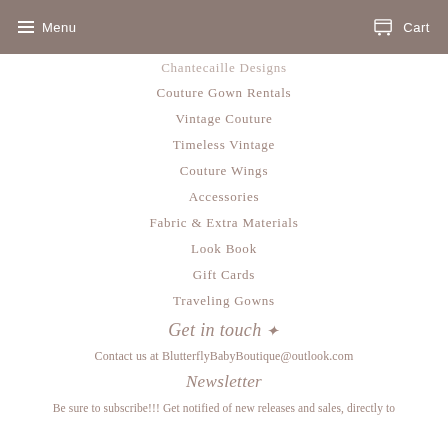Menu  Cart
Chantecaille Designs (partial)
Couture Gown Rentals
Vintage Couture
Timeless Vintage
Couture Wings
Accessories
Fabric & Extra Materials
Look Book
Gift Cards
Traveling Gowns
Get in touch
Contact us at BlutterflyBabyBoutique@outlook.com
Newsletter
Be sure to subscribe!!! Get notified of new releases and sales, directly to your inbox.